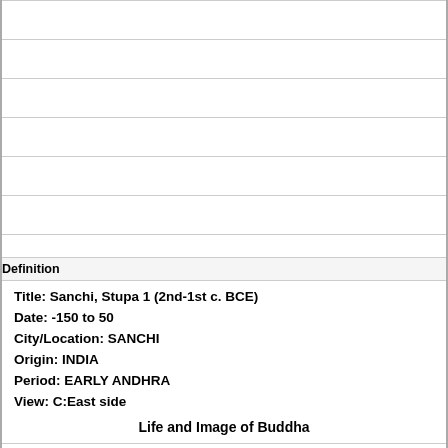| (empty) |
| (empty) |
| (empty) |
| (empty) |
| (empty) |
| (empty) |
| (empty) |
| Definition |
| Title: Sanchi, Stupa 1 (2nd-1st c. BCE)
Date: -150 to 50
City/Location: SANCHI
Origin: INDIA
Period: EARLY ANDHRA
View: C:East side
Life and Image of Buddha |
| (empty) |
| (shaded) |
| Term |